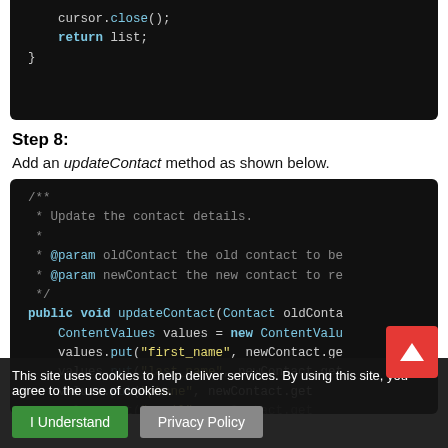[Figure (screenshot): Code block showing end of a function: cursor.close(); return list; }]
Step 8:
Add an updateContact method as shown below.
[Figure (screenshot): Code block showing updateContact method with Javadoc comment including @param oldContact and @param newContact, then public void updateContact(Contact oldConta... with ContentValues values = new ContentValu..., values.put("first_name", newContact.ge..., values.put("last_name", newContact.get..., values.put("phone", newContact.get..., values.put("email", newContact.get..., database.update...]
This site uses cookies to help deliver services. By using this site, you agree to the use of cookies.